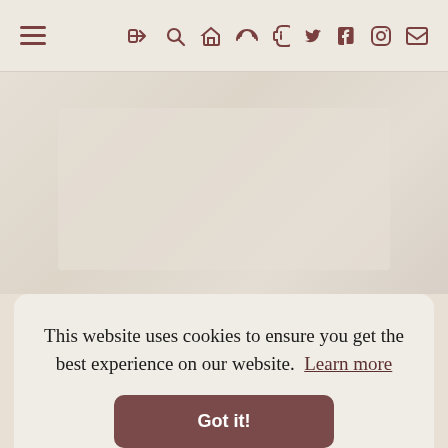≡  ➜  🔍  ⌂  ◗  ✦  f  ◎  ✉
[Figure (screenshot): Beige/cream textured background content area visible behind cookie consent overlay]
This website uses cookies to ensure you get the best experience on our website.  Learn more
Got it!